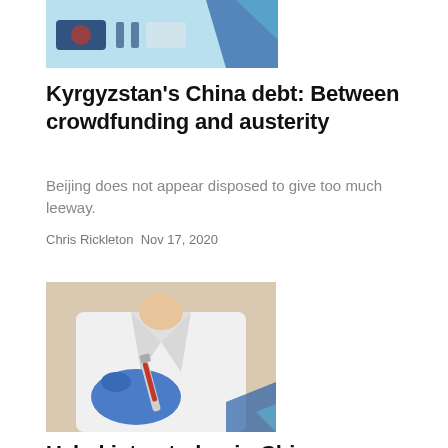[Figure (photo): Partial view of a news article header image with blue geometric/flag design elements]
Kyrgyzstan's China debt: Between crowdfunding and austerity
Beijing does not appear disposed to give too much leeway.
Chris Rickleton Nov 17, 2020
[Figure (photo): Healthcare worker in white lab coat and blue gloves holding a syringe with red liquid]
Uzbekistan to begin Chinese vaccine trial